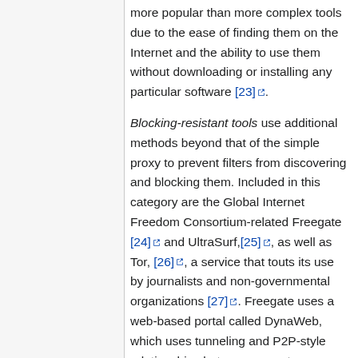more popular than more complex tools due to the ease of finding them on the Internet and the ability to use them without downloading or installing any particular software [23].
Blocking-resistant tools use additional methods beyond that of the simple proxy to prevent filters from discovering and blocking them. Included in this category are the Global Internet Freedom Consortium-related Freegate [24] and UltraSurf,[25], as well as Tor, [26], a service that touts its use by journalists and non-governmental organizations [27]. Freegate uses a web-based portal called DynaWeb, which uses tunneling and P2P-style relationships between users to pass along the newest addresses of DynaWeb portals, allowing it to adapt quickly to blocking [28]